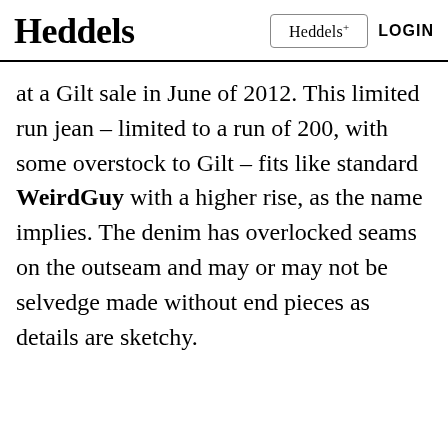Heddels  Heddels+  LOGIN
at a Gilt sale in June of 2012. This limited run jean – limited to a run of 200, with some overstock to Gilt – fits like standard WeirdGuy with a higher rise, as the name implies. The denim has overlocked seams on the outseam and may or may not be selvedge made without end pieces as details are sketchy.